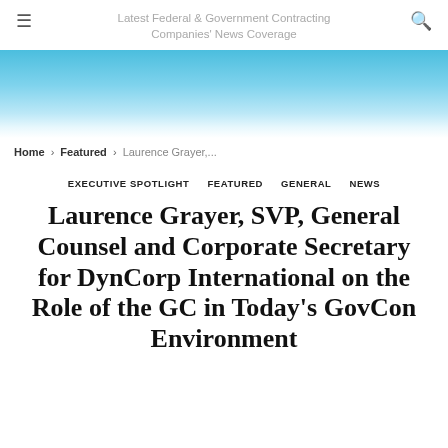Latest Federal & Government Contracting Companies' News Coverage
[Figure (other): Blue gradient banner image from solid blue at top fading to white at bottom]
Home › Featured › Laurence Grayer,...
EXECUTIVE SPOTLIGHT   FEATURED   GENERAL   NEWS
Laurence Grayer, SVP, General Counsel and Corporate Secretary for DynCorp International on the Role of the GC in Today's GovCon Environment